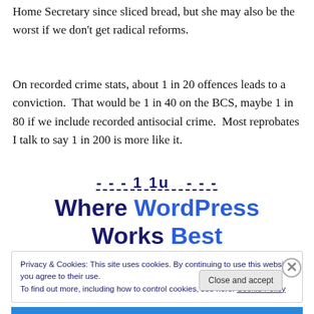Home Secretary since sliced bread, but she may also be the worst if we don't get radical reforms.
On recorded crime stats, about 1 in 20 offences leads to a conviction.  That would be 1 in 40 on the BCS, maybe 1 in 80 if we include recorded antisocial crime.  Most reprobates I talk to say 1 in 200 is more like it.
[Figure (screenshot): WordPress.com advertisement banner reading 'The Platform Where WordPress Works Best' with partial dashed underline text at top]
Privacy & Cookies: This site uses cookies. By continuing to use this website, you agree to their use.
To find out more, including how to control cookies, see here: Cookie Policy
Close and accept